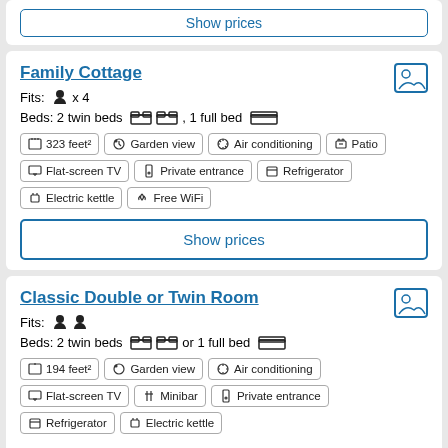Show prices
Family Cottage
Fits: x 4
Beds: 2 twin beds , 1 full bed
323 feet²
Garden view
Air conditioning
Patio
Flat-screen TV
Private entrance
Refrigerator
Electric kettle
Free WiFi
Show prices
Classic Double or Twin Room
Fits: (two people icons)
Beds: 2 twin beds or 1 full bed
194 feet²
Garden view
Air conditioning
Flat-screen TV
Minibar
Private entrance
Refrigerator
Electric kettle